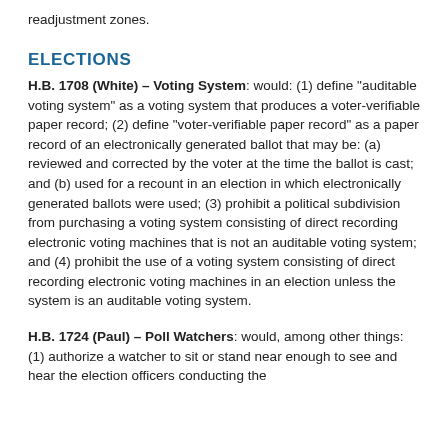readjustment zones.
ELECTIONS
H.B. 1708 (White) – Voting System: would: (1) define "auditable voting system" as a voting system that produces a voter-verifiable paper record; (2) define "voter-verifiable paper record" as a paper record of an electronically generated ballot that may be: (a) reviewed and corrected by the voter at the time the ballot is cast; and (b) used for a recount in an election in which electronically generated ballots were used; (3) prohibit a political subdivision from purchasing a voting system consisting of direct recording electronic voting machines that is not an auditable voting system; and (4) prohibit the use of a voting system consisting of direct recording electronic voting machines in an election unless the system is an auditable voting system.
H.B. 1724 (Paul) – Poll Watchers: would, among other things: (1) authorize a watcher to sit or stand near enough to see and hear the election officers conducting the